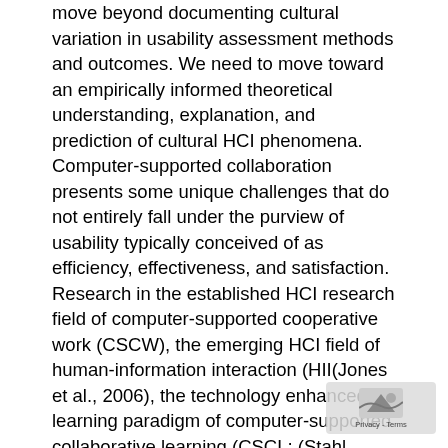move beyond documenting cultural variation in usability assessment methods and outcomes. We need to move toward an empirically informed theoretical understanding, explanation, and prediction of cultural HCI phenomena. Computer-supported collaboration presents some unique challenges that do not entirely fall under the purview of usability typically conceived of as efficiency, effectiveness, and satisfaction. Research in the established HCI research field of computer-supported cooperative work (CSCW), the emerging HCI field of human-information interaction (HII(Jones et al., 2006), the technology enhanced learning paradigm of computer-supported collaborative learning (CSCL; (Stahl, Koschmann, & Suthers, 2006), and the emerging field of computer-supported intercultural collaboration (CSIC; (Vatrapu & Suthers, 2009b) investigating how users interact with each other as well as with the computers. Currently, the Internet is undergoing a profound shift towards a